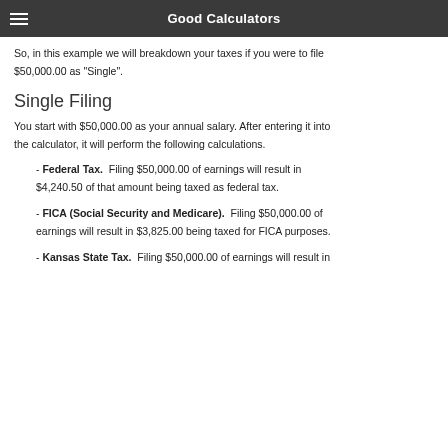Good Calculators
So, in this example we will breakdown your taxes if you were to file $50,000.00 as "Single".
Single Filing
You start with $50,000.00 as your annual salary. After entering it into the calculator, it will perform the following calculations.
- Federal Tax.  Filing $50,000.00 of earnings will result in $4,240.50 of that amount being taxed as federal tax.
- FICA (Social Security and Medicare).  Filing $50,000.00 of earnings will result in $3,825.00 being taxed for FICA purposes.
- Kansas State Tax.  Filing $50,000.00 of earnings will result in